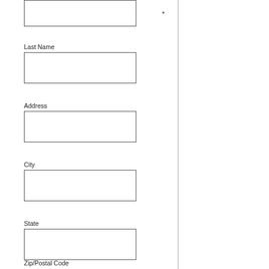*
Last Name
Address
City
State
Zip/Postal Code